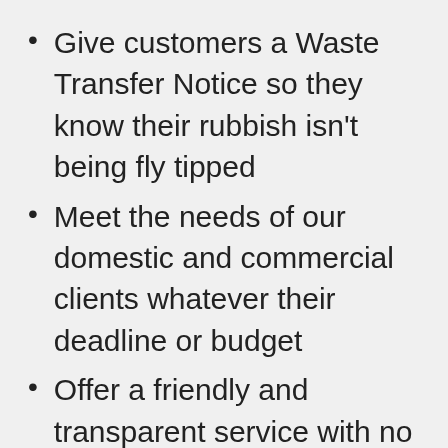Give customers a Waste Transfer Notice so they know their rubbish isn't being fly tipped
Meet the needs of our domestic and commercial clients whatever their deadline or budget
Offer a friendly and transparent service with no hidden charges
You can also call on CBS Group,